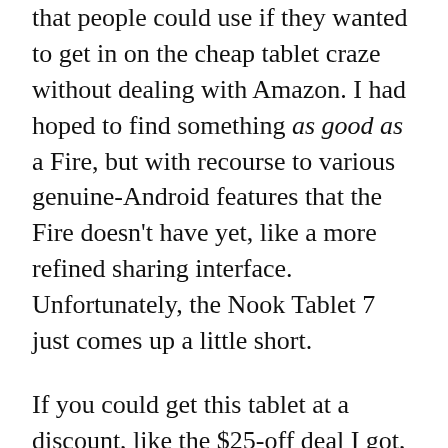that people could use if they wanted to get in on the cheap tablet craze without dealing with Amazon. I had hoped to find something as good as a Fire, but with recourse to various genuine-Android features that the Fire doesn't have yet, like a more refined sharing interface. Unfortunately, the Nook Tablet 7 just comes up a little short.
If you could get this tablet at a discount, like the $25-off deal I got, it might be worth picking up to play around with and see if you come to the same conclusion. If you don't intend to do many "tablet" things with it, it might be okay as just a plain e-reader. But if you're looking for a good cheap Android tablet, get a Fire 7—or